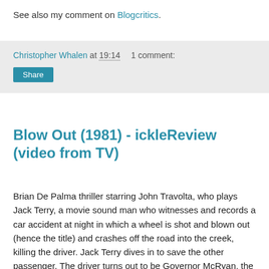See also my comment on Blogcritics.
Christopher Whalen at 19:14   1 comment:
Share
Blow Out (1981) - ickleReview (video from TV)
Brian De Palma thriller starring John Travolta, who plays Jack Terry, a movie sound man who witnesses and records a car accident at night in which a wheel is shot and blown out (hence the title) and crashes off the road into the creek, killing the driver. Jack Terry dives in to save the other passenger. The driver turns out to be Governor McRyan, the presidential candidate; the other passenger, a girl called Sally, is a type of hooker/escort girl, whom the campaign team and police try to cover up to avoid embarrassing the governor's family. It turns out the "accident" was also caught